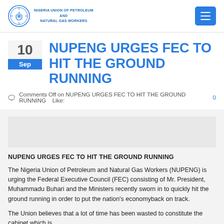NIGERIA UNION OF PETROLEUM AND NATURAL GAS WORKERS
NUPENG URGES FEC TO HIT THE GROUND RUNNING
Comments Off on NUPENG URGES FEC TO HIT THE GROUND RUNNING   Like: 0
NUPENG URGES FEC TO HIT THE GROUND RUNNING
The Nigeria Union of Petroleum and Natural Gas Workers (NUPENG) is urging the Federal Executive Council (FEC) consisting of Mr. President, Muhammadu Buhari and the Ministers recently sworn in to quickly hit the ground running in order to put the nation’s economyback on track.
The Union believes that a lot of time has been wasted to constitute the cabinet which is